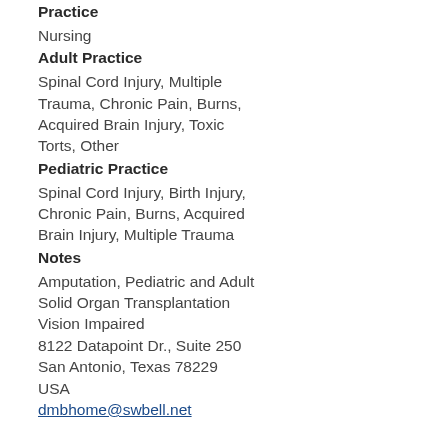Practice
Nursing
Adult Practice
Spinal Cord Injury, Multiple Trauma, Chronic Pain, Burns, Acquired Brain Injury, Toxic Torts, Other
Pediatric Practice
Spinal Cord Injury, Birth Injury, Chronic Pain, Burns, Acquired Brain Injury, Multiple Trauma
Notes
Amputation, Pediatric and Adult Solid Organ Transplantation Vision Impaired 8122 Datapoint Dr., Suite 250 San Antonio, Texas 78229 USA dmbhome@swbell.net